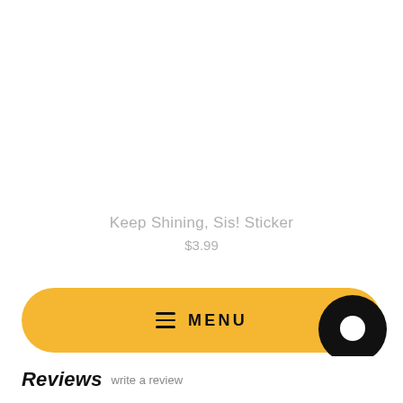Keep Shining, Sis! Sticker
$3.99
[Figure (screenshot): Mobile e-commerce navigation bar with gold/yellow rounded pill shape containing hamburger menu icon and MENU text, plus black circular chat bubble icon on the right]
Reviews write a review